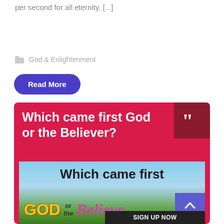per second for all eternity. [...]
God & Enlightenment
Read More
[Figure (illustration): Red card with bold white text 'Which came first God or the Believer?' with a dark red quote mark box in top right corner, and below an image showing 'Which came first GOD or the Believer' text over a sky and grass background, with a scroll-up button and SIGN UP NOW bar]
SIGN UP NOW